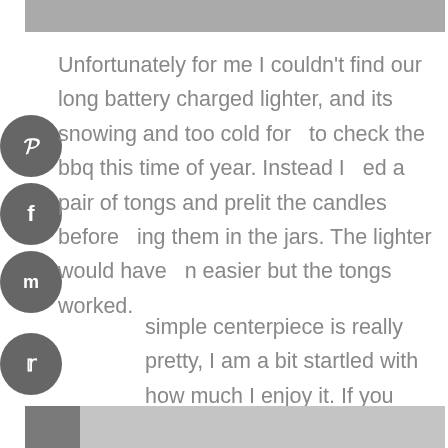[Figure (photo): Top partial photo, grey/blurred image strip at top of page]
Unfortunately for me I couldn't find our long battery charged lighter, and its snowing and too cold for to check the bbq this time of year. Instead I used a pair of tongs and prelit the candles before ing them in the jars. The lighter would have n easier but the tongs worked.
simple centerpiece is really pretty, I am a bit startled with how much I enjoy it. If you make one please let me know, I would love to hear about it.
[Figure (photo): Bottom partial photo, grey/blurred image strip at bottom of page]